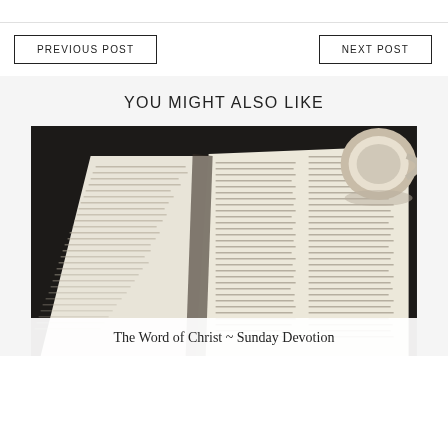PREVIOUS POST
NEXT POST
YOU MIGHT ALSO LIKE
[Figure (photo): Open Bible on a dark table with a white coffee cup partially visible in the upper right corner]
The Word of Christ ~ Sunday Devotion